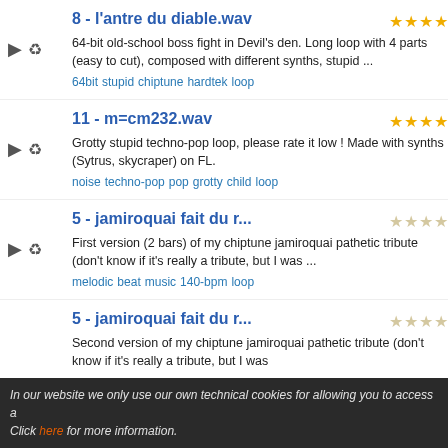8 - l'antre du diable.wav
64-bit old-school boss fight in Devil's den. Long loop with 4 parts (easy to cut), composed with different synths, stupid ...
Tags: 64bit stupid chiptune hardtek loop
11 - m=cm232.wav
Grotty stupid techno-pop loop, please rate it low ! Made with synths (Sytrus, skycraper) on FL.
Tags: noise techno-pop pop grotty child loop
5 - jamiroquai fait du r...
First version (2 bars) of my chiptune jamiroquai pathetic tribute (don't know if it's really a tribute, but I was ...
Tags: melodic beat music 140-bpm loop
5 - jamiroquai fait du r...
Second version of my chiptune jamiroquai pathetic tribute (don't know if it's really a tribute, but I was
In our website we only use our own technical cookies for allowing you to access a Click here for more information.